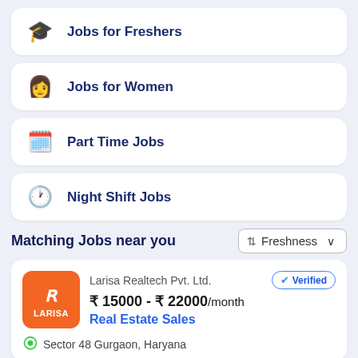Jobs for Freshers
Jobs for Women
Part Time Jobs
Night Shift Jobs
Matching Jobs near you
Freshness
Larisa Realtech Pvt. Ltd.   ₹ 15000 - ₹ 22000/month   Real Estate Sales   Sector 48 Gurgaon, Haryana   Verified